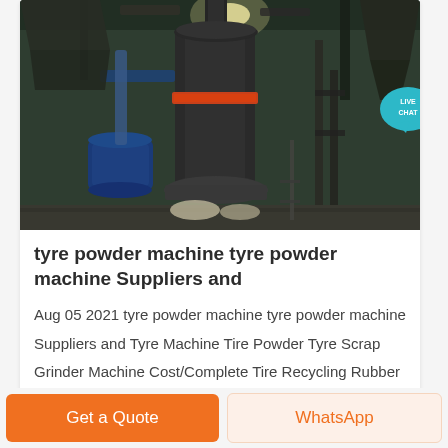[Figure (photo): Industrial tyre powder grinding machine in a factory setting, large cylindrical vertical mill with orange accent ring, blue motor, metal framework, concrete floor, lit interior space]
tyre powder machine tyre powder machine Suppliers and
Aug 05 2021 tyre powder machine tyre powder machine Suppliers and Tyre Machine Tire Powder Tyre Scrap Grinder Machine Cost/Complete Tire Recycling Rubber Powd
Get a Quote
WhatsApp